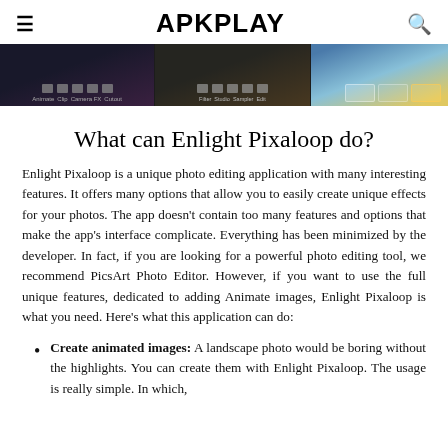≡  APKPLAY  🔍
[Figure (screenshot): Three app screenshot thumbnails showing Enlight Pixaloop UI with dark backgrounds and editing toolbar icons]
What can Enlight Pixaloop do?
Enlight Pixaloop is a unique photo editing application with many interesting features. It offers many options that allow you to easily create unique effects for your photos. The app doesn't contain too many features and options that make the app's interface complicate. Everything has been minimized by the developer. In fact, if you are looking for a powerful photo editing tool, we recommend PicsArt Photo Editor. However, if you want to use the full unique features, dedicated to adding Animate images, Enlight Pixaloop is what you need. Here's what this application can do:
Create animated images: A landscape photo would be boring without the highlights. You can create them with Enlight Pixaloop. The usage is really simple. In which,